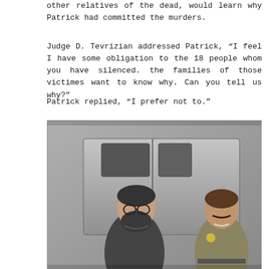other relatives of the dead, would learn why Patrick had committed the murders.
Judge D. Tevrizian addressed Patrick, “I feel I have some obligation to the 18 people whom you have silenced. the families of those victimes want to know why. Can you tell us why?”
Patrick replied, “I prefer not to.”
[Figure (photo): Black and white photograph of a bearded man wearing glasses and a dark shirt standing in front of a van, with a uniformed officer with a mustache standing behind him near the van door.]